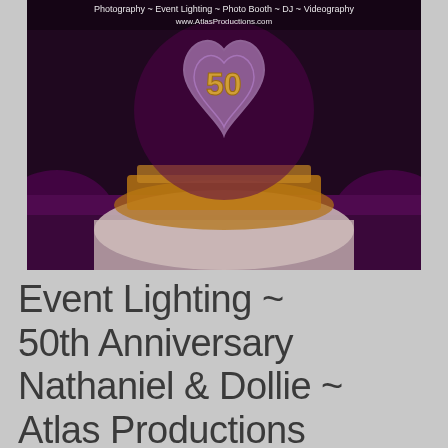[Figure (photo): An ice sculpture in the shape of a heart with the number 50 carved into it, illuminated with purple and gold/amber lighting, sitting on a draped table. Text overlay at the top reads: 'Photography ~ Event Lighting ~ Photo Booth ~ DJ ~ Videography' and 'www.AtlasProductions.com']
Event Lighting ~ 50th Anniversary Nathaniel & Dollie ~ Atlas Productions